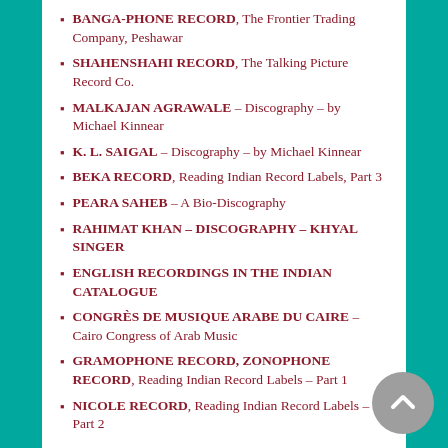BANGA-PHONE RECORD, The Frontier Trading Company, Peshawar
SHAHENSHAHI RECORD, The Talking Picture Record Co.
MALKAJAN AGRAWALE – Discography – by Michael Kinnear
K. L. SAIGAL – Discography – by Michael Kinnear
BEKA RECORD, Reading Indian Record Labels, Part 3
PEARA SAHEB – A Bio-Discography
RAHIMAT KHAN – DISCOGRAPHY – KHYAL SINGER
ENGLISH RECORDINGS IN THE INDIAN CATALOGUE
CONGRÈS DE MUSIQUE ARABE DU CAIRE – Cairo Congress of Arab Music
GRAMOPHONE RECORD, ZONOPHONE RECORD, Reading Indian Record Labels – Part 1
NICOLE RECORD, Reading Indian Record Labels – Part 2